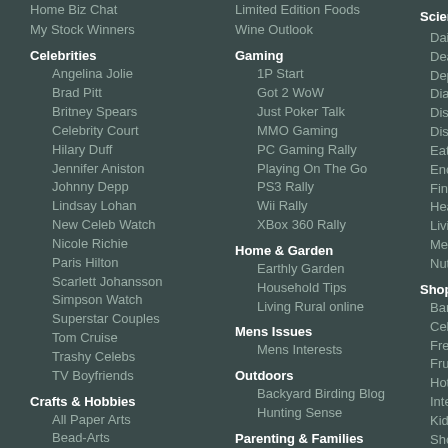Home Biz Chat
My Stock Winners
Celebrities
Angelina Jolie
Brad Pitt
Britney Spears
Celebrity Court
Hilary Duff
Jennifer Aniston
Johnny Depp
Lindsay Lohan
New Celeb Watch
Nicole Richie
Paris Hilton
Scarlett Johansson
Simpson Watch
Superstar Couples
Tom Cruise
Trashy Celebs
TV Boyfriends
Crafts & Hobbies
All Paper Arts
Bead-Arts
Comic Book Journal
Creative Mom Cafe
Getting Crafty
Limited Edition Foods
Wine Outlook
Gaming
1P Start
Got 2 WoW
Just Poker Talk
MMO Gaming
PC Gaming Rally
Playing On The Go
PS3 Rally
Wii Rally
XBox 360 Rally
Home & Garden
Earthly Garden
Household Tips
Living Rural online
Mens Issues
Mens Interests
Outdoors
Backyard Birding Blog
Hunting Sense
Parenting & Families
All About Fatherhood
Science
Daily
Deali...
Depre...
Diabe...
Discu...
Discu...
Eatin...
Enco...
Final...
Healt...
Livin...
Menta...
Nutrit...
Shopping
Barga...
Celeb...
Freeb...
Fruga...
Hot o...
Intern...
Kid's ...
Shoe...
Shop...
Style
Special I...